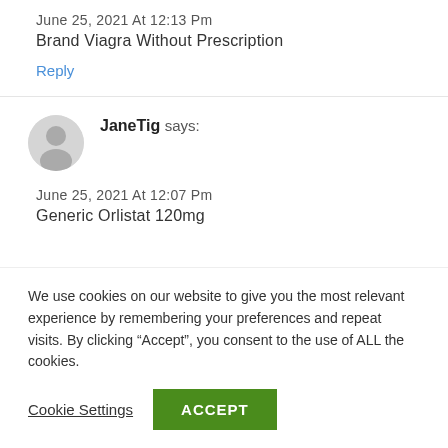June 25, 2021 At 12:13 Pm
Brand Viagra Without Prescription
Reply
JaneTig says:
June 25, 2021 At 12:07 Pm
Generic Orlistat 120mg
We use cookies on our website to give you the most relevant experience by remembering your preferences and repeat visits. By clicking “Accept”, you consent to the use of ALL the cookies.
Cookie Settings
ACCEPT